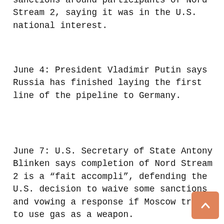sanctions around participants of Nord Stream 2, saying it was in the U.S. national interest.
June 4: President Vladimir Putin says Russia has finished laying the first line of the pipeline to Germany.
June 7: U.S. Secretary of State Antony Blinken says completion of Nord Stream 2 is a “fait accompli”, defending the U.S. decision to waive some sanctions and vowing a response if Moscow tries to use gas as a weapon.
June 10: Nord Stream 2 says the project will start preparations to fill the first of two pipelines with natural gas within a few months.